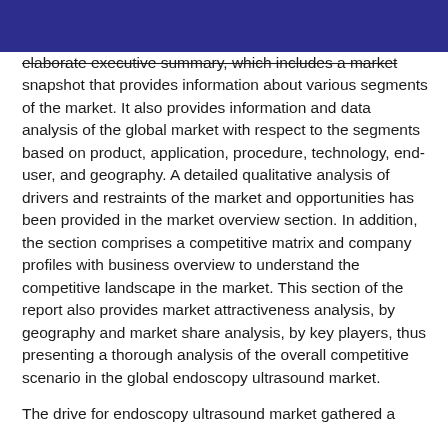elaborate executive summary, which includes a market snapshot that provides information about various segments of the market. It also provides information and data analysis of the global market with respect to the segments based on product, application, procedure, technology, end-user, and geography. A detailed qualitative analysis of drivers and restraints of the market and opportunities has been provided in the market overview section. In addition, the section comprises a competitive matrix and company profiles with business overview to understand the competitive landscape in the market. This section of the report also provides market attractiveness analysis, by geography and market share analysis, by key players, thus presenting a thorough analysis of the overall competitive scenario in the global endoscopy ultrasound market.
The drive for endoscopy ultrasound market gathered a